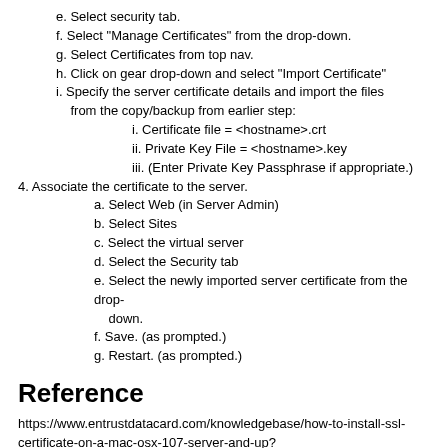e. Select security tab.
f. Select "Manage Certificates" from the drop-down.
g. Select Certificates from top nav.
h. Click on gear drop-down and select "Import Certificate"
i. Specify the server certificate details and import the files from the copy/backup from earlier step:
i. Certificate file = <hostname>.crt
ii. Private Key File = <hostname>.key
iii. (Enter Private Key Passphrase if appropriate.)
4. Associate the certificate to the server.
a. Select Web (in Server Admin)
b. Select Sites
c. Select the virtual server
d. Select the Security tab
e. Select the newly imported server certificate from the drop-down.
f. Save. (as prompted.)
g. Restart. (as prompted.)
Reference
https://www.entrustdatacard.com/knowledgebase/how-to-install-ssl-certificate-on-a-mac-osx-107-server-and-up?keyword=Mac%20OS&productType=&serverType=